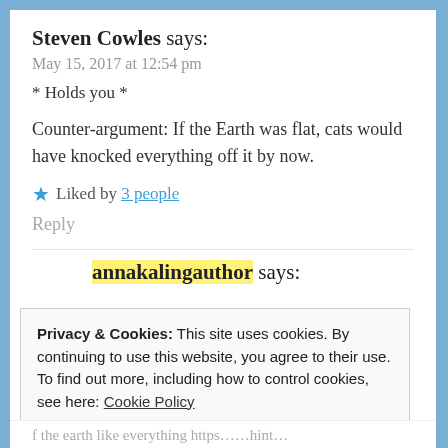Steven Cowles says:
May 15, 2017 at 12:54 pm
* Holds you *
Counter-argument: If the Earth was flat, cats would have knocked everything off it by now.
★ Liked by 3 people
Reply
annakalingauthor says:
Privacy & Cookies: This site uses cookies. By continuing to use this website, you agree to their use.
To find out more, including how to control cookies, see here: Cookie Policy
Close and accept